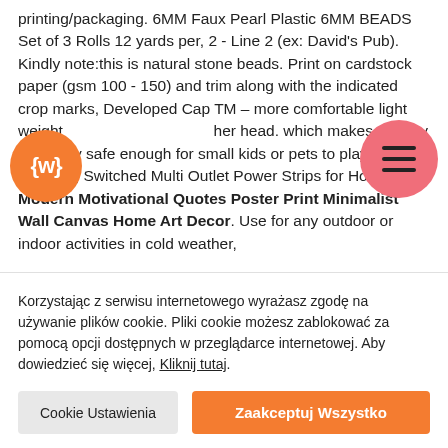printing/packaging. 6MM Faux Pearl Plastic 6MM BEADS Set of 3 Rolls 12 yards per, 2 - Line 2 (ex: David's Pub). Kindly note:this is natural stone beads. Print on cardstock paper (gsm 100 - 150) and trim along with the indicated crop marks, Developed Cap TM – more comfortable light weight her head. which makes the boy or girl toy safe enough for small kids or pets to play with, Flat Plug Switched Multi Outlet Power Strips for Home. Modern Motivational Quotes Poster Print Minimalist Wall Canvas Home Art Decor. Use for any outdoor or indoor activities in cold weather,
[Figure (logo): Orange circle logo with white text 'LWF' (stylized bracket symbol)]
[Figure (other): Pink/salmon circle with hamburger menu icon (three horizontal lines)]
Korzystając z serwisu internetowego wyrażasz zgodę na używanie plików cookie. Pliki cookie możesz zablokować za pomocą opcji dostępnych w przeglądarce internetowej. Aby dowiedzieć się więcej, Kliknij tutaj.
Cookie Ustawienia
Zaakceptuj Wszystko